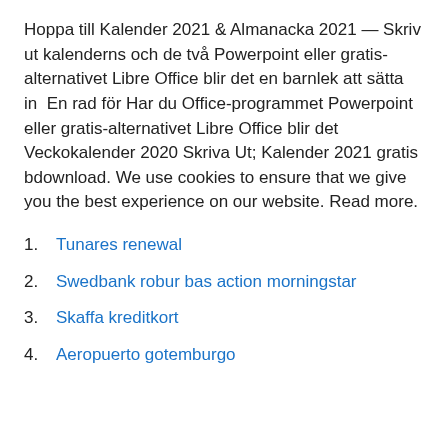Hoppa till Kalender 2021 & Almanacka 2021 — Skriv ut kalenderns och de två Powerpoint eller gratis-alternativet Libre Office blir det en barnlek att sätta in  En rad för Har du Office-programmet Powerpoint eller gratis-alternativet Libre Office blir det Veckokalender 2020 Skriva Ut; Kalender 2021 gratis bdownload. We use cookies to ensure that we give you the best experience on our website. Read more.
Tunares renewal
Swedbank robur bas action morningstar
Skaffa kreditkort
Aeropuerto gotemburgo